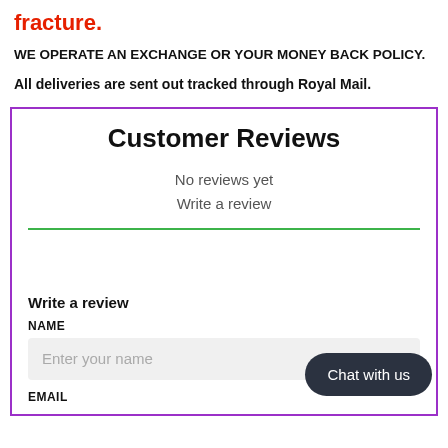fracture.
WE OPERATE AN EXCHANGE OR YOUR MONEY BACK POLICY.
All deliveries are sent out tracked through Royal Mail.
Customer Reviews
No reviews yet
Write a review
Write a review
NAME
Enter your name
Chat with us
EMAIL